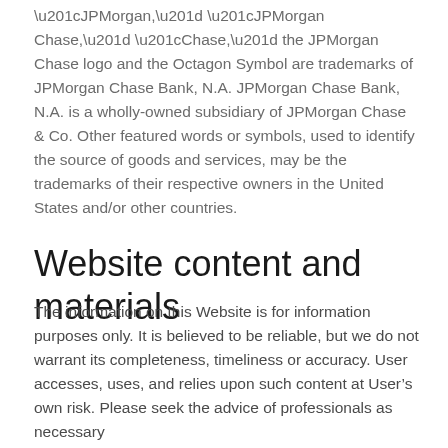“JPMorgan,” “JPMorgan Chase,” “Chase,” the JPMorgan Chase logo and the Octagon Symbol are trademarks of JPMorgan Chase Bank, N.A. JPMorgan Chase Bank, N.A. is a wholly-owned subsidiary of JPMorgan Chase & Co. Other featured words or symbols, used to identify the source of goods and services, may be the trademarks of their respective owners in the United States and/or other countries.
Website content and materials
The information on this Website is for information purposes only. It is believed to be reliable, but we do not warrant its completeness, timeliness or accuracy. User accesses, uses, and relies upon such content at User’s own risk. Please seek the advice of professionals as necessary